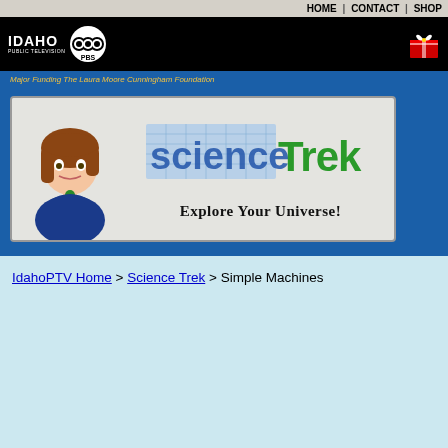HOME | CONTACT | SHOP
[Figure (logo): Idaho Public Television PBS logo on black bar with gift icon on right]
Major Funding The Laura Moore Cunningham Foundation
[Figure (illustration): Science Trek banner with cartoon girl character, blueprint-style 'science' text in blue, 'Trek' in green, and tagline 'Explore Your Universe!']
IdahoPTV Home > Science Trek > Simple Machines